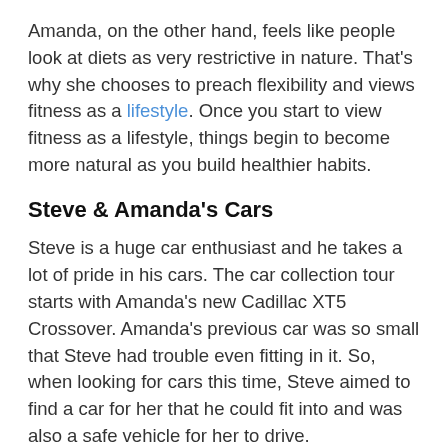Amanda, on the other hand, feels like people look at diets as very restrictive in nature. That's why she chooses to preach flexibility and views fitness as a lifestyle. Once you start to view fitness as a lifestyle, things begin to become more natural as you build healthier habits.
Steve & Amanda's Cars
Steve is a huge car enthusiast and he takes a lot of pride in his cars. The car collection tour starts with Amanda's new Cadillac XT5 Crossover. Amanda's previous car was so small that Steve had trouble even fitting in it. So, when looking for cars this time, Steve aimed to find a car for her that he could fit into and was also a safe vehicle for her to drive.